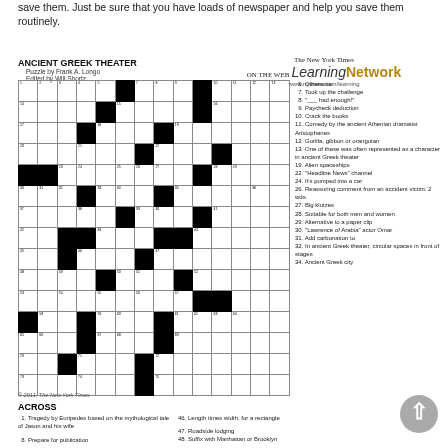save them. Just be sure that you have loads of newspaper and help you save them routinely.
ANCIENT GREEK THEATER
Puzzle by Frank A. Longo
Edited by Will Shortz
[Figure (logo): The New York Times Learning Network logo with www.nytimes.com/learning]
[Figure (other): Crossword puzzle grid for ANCIENT GREEK THEATER, 15x15 with numbered squares and black squares]
© 2011, The New York Times
ACROSS
1. Tragedy by Euripedes based on the mythological tale of Jason and his wife
8. Prepare for publication
10. Waste produced from refining ore
46. Length times width, for a rectangle
47. Roadside lodging
48. Suffix with Manhattan or Brooklyn
49. He played Clubber Lang in "Rocky III": 2 wds.
50. "___-hoo!" ("Hey, you!")
6. Otherwise
7. Took up the challenge
8. "___ had enough!"
9. Paycheck deduction
10. Crack the books
11. Comedy by the ancient Athenian dramatist Aristophanes
12. Gorilla, gibbon or orangutan
13. One of these was often represented as a character in ancient Greek theater
19. Alien spaceships
22. "Headline News" channel
24. It's pumped into a car
26. Reassuring comment from an accident victim: 2 wds.
27. Big klutzes
28. Suitable for both men and women
29. Alternative to a paper clip
30. "Lawrence of Arabia" actor Omar
31. Add carbonation to
32. In ancient Greek theater, circular spaces in front of stages
34. Ancient Greek city